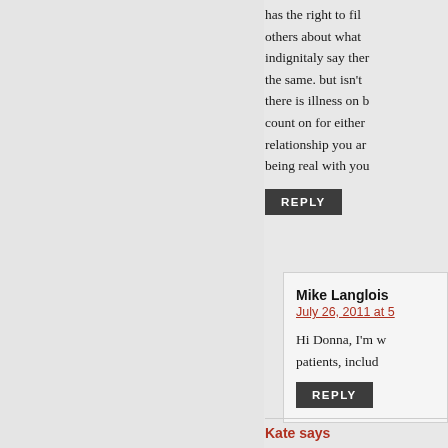has the right to file others about what indignitaly say ther the same. but isn't there is illness on b count on for either relationship you ar being real with you
REPLY
Mike Langlois
July 26, 2011 at 5
Hi Donna, I'm w patients, includ
REPLY
Kate says